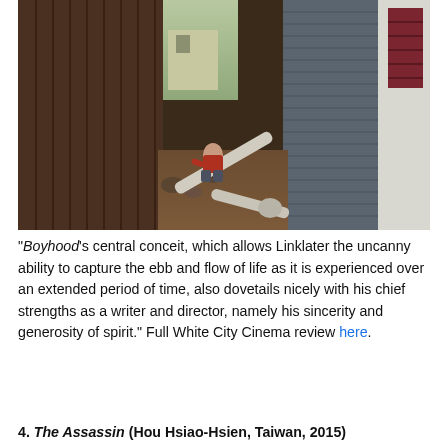[Figure (photo): A child in a red shirt sits and plays in a narrow outdoor passage between a wooden fence and the gray siding of a house, with dirt ground and white PVC pipes scattered around.]
"Boyhood's central conceit, which allows Linklater the uncanny ability to capture the ebb and flow of life as it is experienced over an extended period of time, also dovetails nicely with his chief strengths as a writer and director, namely his sincerity and generosity of spirit." Full White City Cinema review here.
4. The Assassin (Hou Hsiao-Hsien, Taiwan, 2015)